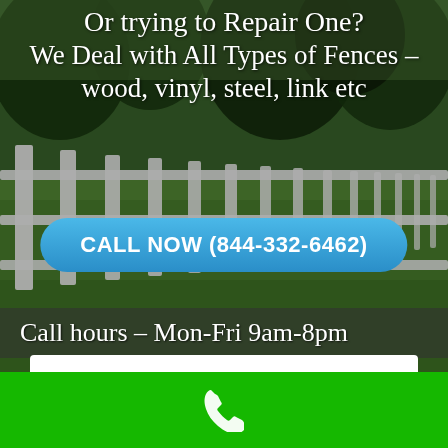[Figure (photo): Background photo of a white wooden fence along a green grassy area with trees in the background]
Or trying to Repair One? We Deal with All Types of Fences – wood, vinyl, steel, link etc
CALL NOW (844-332-6462)
Call hours – Mon-Fri 9am-8pm
Or Request a Call Back
Enter your email
[Figure (illustration): White phone handset icon on green background bar at the bottom of the page]